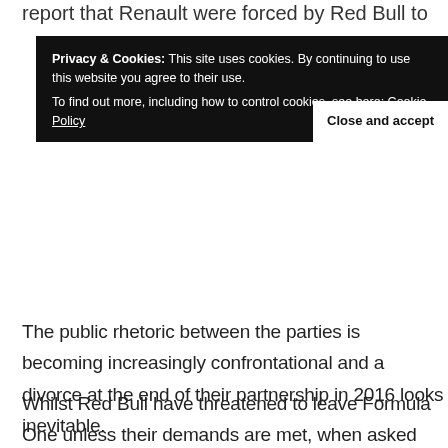report that Renault were forced by Red Bull to run an e… r… n…
Privacy & Cookies: This site uses cookies. By continuing to use this website you agree to their use.
To find out more, including how to control cookies, see here: Cookie Policy
Close and accept
The public rhetoric between the parties is becoming increasingly confrontational and a divorce at the end of their partnership in 2016 looks inevitable.
Whilst Red Bull have threatened to leave Formula One unless their demands are met, when asked what the percentage chance of Renault leaving Formula One,